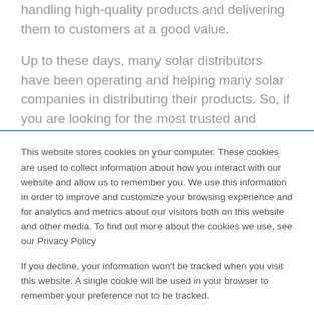handling high-quality products and delivering them to customers at a good value.
Up to these days, many solar distributors have been operating and helping many solar companies in distributing their products. So, if you are looking for the most trusted and reliable solar distributor, you can easily find one by
This website stores cookies on your computer. These cookies are used to collect information about how you interact with our website and allow us to remember you. We use this information in order to improve and customize your browsing experience and for analytics and metrics about our visitors both on this website and other media. To find out more about the cookies we use, see our Privacy Policy
If you decline, your information won't be tracked when you visit this website. A single cookie will be used in your browser to remember your preference not to be tracked.